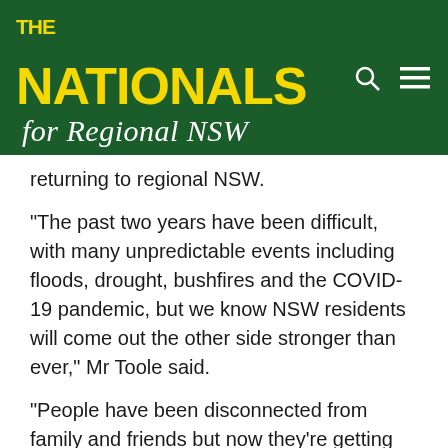[Figure (logo): The Nationals for Regional NSW logo on dark green banner with search and menu icons]
returning to regional NSW.
“The past two years have been difficult, with many unpredictable events including floods, drought, bushfires and the COVID-19 pandemic, but we know NSW residents will come out the other side stronger than ever,” Mr Toole said.
“People have been disconnected from family and friends but now they’re getting out and about again, and we want to see communities thriving and businesses buzzing with more local activities, events and opportunities in the regions.
“This funding will help regional councils stage shows